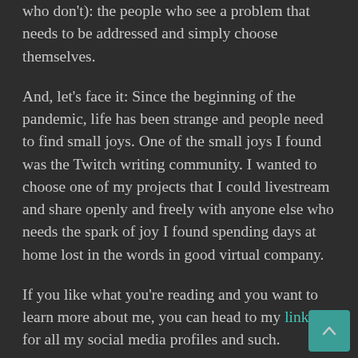who don't): the people who see a problem that needs to be addressed and simply choose themselves.
And, let's face it: Since the beginning of the pandemic, life has been strange and people need to find small joys. One of the small joys I found was the Twitch writing community. I wanted to choose one of my projects that I could livestream and share openly and freely with anyone else who needs the spark of joy I found spending days at home lost in the words in good virtual company.
If you like what you're reading and you want to learn more about me, you can head to my linktr.ee for all my social media profiles and such.
If you really like what you're reading and you want to support me bringing a bit of joy and creativity to others, consider buying me a skein of yarn on ko-fi or becoming a monthly ko-fi subscriber for behind-the-scenes content and early access episodes.